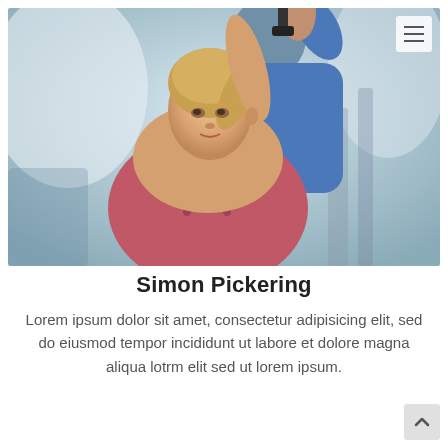[Figure (photo): A woman in a pink sports bra doing a tricep stretch with a dumbbell overhead, assisted by a trainer in a blue shirt in a gym setting]
Simon Pickering
Lorem ipsum dolor sit amet, consectetur adipisicing elit, sed do eiusmod tempor incididunt ut labore et dolore magna aliqua lotrm elit sed ut lorem ipsum.